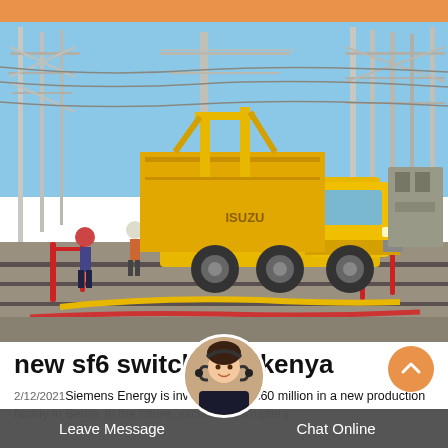[Figure (photo): Yellow ISUZU utility truck/service vehicle parked inside a large electrical substation with high-voltage power lines and metal lattice structures in the background. Workers and red safety barriers visible. Sky is blue and clear.]
new sf6 switchgear kenya
2/12/2021 Siemens Energy is investing over €60 million in a new production facility in Berlin. In the future, vacuum interrupters
Leave Message    Chat Online